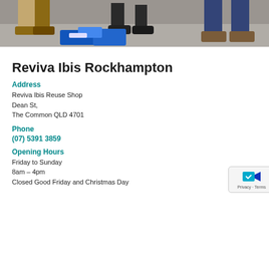[Figure (photo): Photo showing people's feet and lower legs on a concrete floor, with blue bags/boxes visible in the foreground]
Reviva Ibis Rockhampton
Address
Reviva Ibis Reuse Shop
Dean St,
The Common QLD 4701
Phone
(07) 5391 3859
Opening Hours
Friday to Sunday
8am – 4pm
Closed Good Friday and Christmas Day